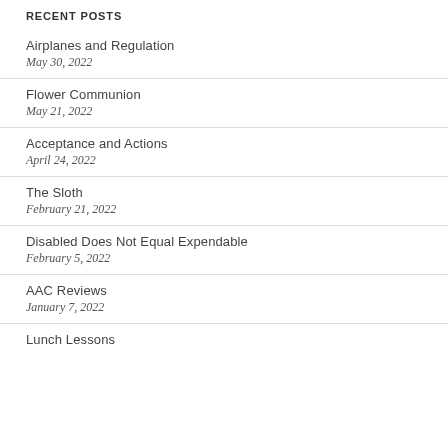RECENT POSTS
Airplanes and Regulation
May 30, 2022
Flower Communion
May 21, 2022
Acceptance and Actions
April 24, 2022
The Sloth
February 21, 2022
Disabled Does Not Equal Expendable
February 5, 2022
AAC Reviews
January 7, 2022
Lunch Lessons